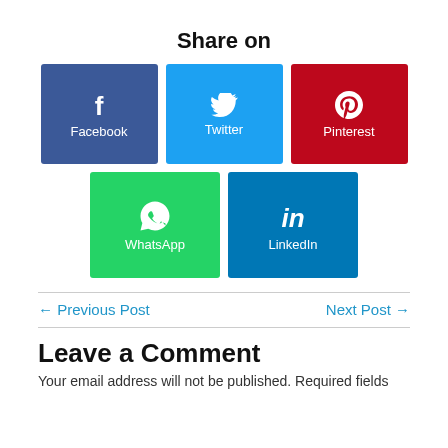Share on
[Figure (infographic): Social media sharing buttons: Facebook, Twitter, Pinterest, WhatsApp, LinkedIn]
← Previous Post
Next Post →
Leave a Comment
Your email address will not be published. Required fields